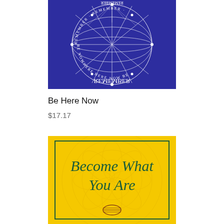[Figure (photo): Book cover of 'Be Here Now' — dark blue/purple background with white geometric globe/sphere design and mirrored text reading 'Remember Be Here Now']
Be Here Now
$17.17
[Figure (photo): Book cover of 'Become What You Are' — yellow background with decorative geometric pattern, dark green serif italic title text inside a green border rectangle, with a small emblem at the bottom]